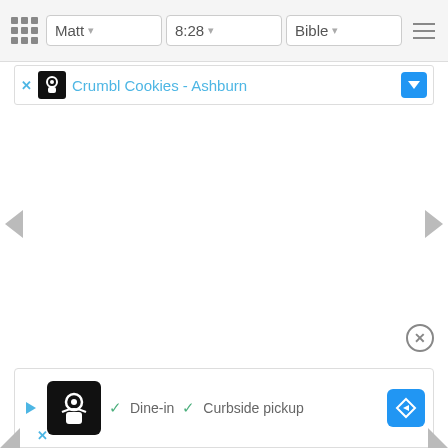Matt  8:28  Bible
[Figure (screenshot): Top advertisement banner showing Crumbl Cookies - Ashburn with close X button and blue dropdown arrow]
[Figure (screenshot): Bottom advertisement banner showing restaurant with Dine-in and Curbside pickup options, play button, and blue navigation diamond]
[Figure (screenshot): Left and right page navigation arrows on white background area]